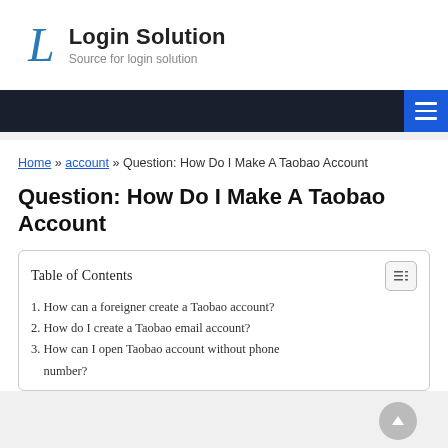Login Solution — Source for login solution
Home » account » Question: How Do I Make A Taobao Account
Question: How Do I Make A Taobao Account
1. How can a foreigner create a Taobao account?
2. How do I create a Taobao email account?
3. How can I open Taobao account without phone number?